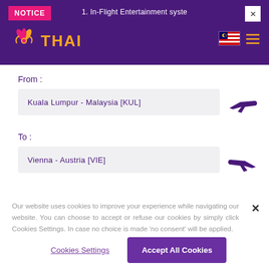NOTICE | 1. In-Flight Entertainment syste
[Figure (logo): Thai Airways logo with lotus flower icon and THAI text in yellow/gold on purple background]
From :
Kuala Lumpur - Malaysia [KUL]
To :
Vienna - Austria [VIE]
Our website uses cookies to improve your experience while navigating our website. You can choose to accept or refuse our cookies by simply click Cookies Settings. In case no choice is made 'no consent' will be applied.
Cookies Settings
Accept All Cookies